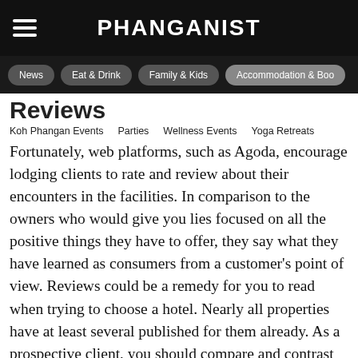PHANGANIST
News | Eat & Drink | Family & Kids | Accommodation & Boo...
Reviews
Koh Phangan Events   Parties   Wellness Events   Yoga Retreats
Fortunately, web platforms, such as Agoda, encourage lodging clients to rate and review about their encounters in the facilities. In comparison to the owners who would give you lies focused on all the positive things they have to offer, they say what they have learned as consumers from a customer's point of view. Reviews could be a remedy for you to read when trying to choose a hotel. Nearly all properties have at least several published for them already. As a prospective client, you should compare and contrast each of the reports that have already been published and decide whether an issue that